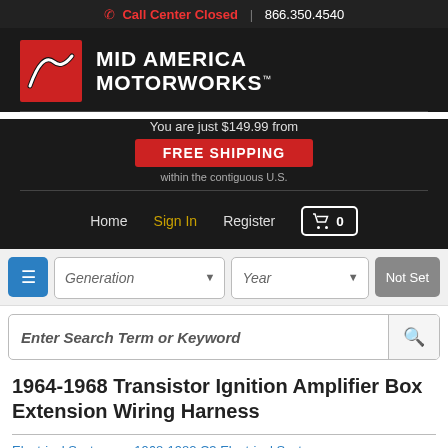Call Center Closed | 866.350.4540
[Figure (logo): Mid America Motorworks logo with red box icon and white text]
You are just $149.99 from FREE SHIPPING within the contiguous U.S.
Home   Sign In   Register   Cart 0
Generation  Year  Not Set
Enter Search Term or Keyword
1964-1968 Transistor Ignition Amplifier Box Extension Wiring Harness
Electrical System >> 1968-1982 C3 Electrical System